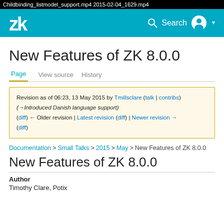Childbinding_listmodel_support.mp4 2015-02-04_1629.mp4
[Figure (logo): ZK framework navigation bar with ZK logo on left and Search with user icon on right, teal background]
New Features of ZK 8.0.0
Page | View source | History
Revision as of 06:23, 13 May 2015 by Tmillsclare (talk | contribs) (→Introduced Danish language support) (diff) ← Older revision | Latest revision (diff) | Newer revision → (diff)
Documentation > Small Talks > 2015 > May > New Features of ZK 8.0.0
New Features of ZK 8.0.0
Author
Timothy Clare, Potix